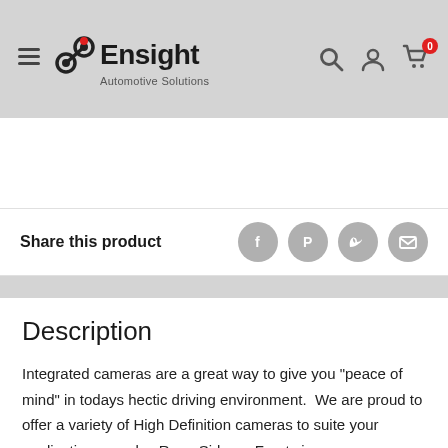[Figure (logo): Ensight Automotive Solutions logo with gear icon, navigation hamburger menu, search icon, user icon, and cart icon with badge '0']
Share this product
[Figure (infographic): Social share icons: Facebook, Pinterest, Twitter, Email]
Description
Integrated cameras are a great way to give you "peace of mind" in todays hectic driving environment.  We are proud to offer a variety of High Definition cameras to suite your applications needs.  Rear, Side, or Front view cameras, we